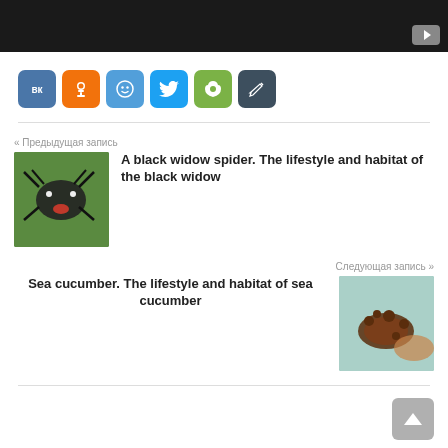[Figure (screenshot): Dark video player bar with YouTube play button icon in bottom-right corner]
[Figure (infographic): Row of social share buttons: VK (blue), OK (orange), MyMail (light blue), Twitter (blue), Evernote (green), Edit/pencil (dark teal)]
« Предыдущая запись
A black widow spider. The lifestyle and habitat of the black widow
Следующая запись »
Sea cucumber. The lifestyle and habitat of sea cucumber